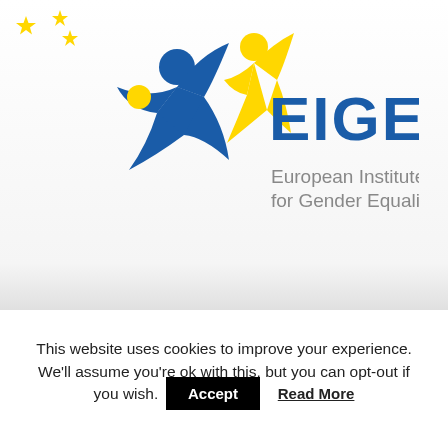[Figure (logo): EIGE logo — European Institute for Gender Equality. Blue star-person figure with raised arms, yellow star-person figure beside it, EU gold stars in top-left corner, text 'EIGE' in blue and 'European Institute for Gender Equality' in grey.]
This website uses cookies to improve your experience. We'll assume you're ok with this, but you can opt-out if you wish.
Accept
Read More